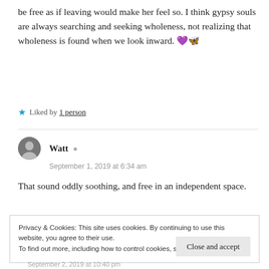be free as if leaving would make her feel so. I think gypsy souls are always searching and seeking wholeness, not realizing that wholeness is found when we look inward. 💜🦋
★ Liked by 1 person
Watt
September 1, 2019 at 6:34 am
That sound oddly soothing, and free in an independent space.
Privacy & Cookies: This site uses cookies. By continuing to use this website, you agree to their use. To find out more, including how to control cookies, see here: Cookie Policy
Close and accept
September 2, 2019 at 10:40 pm